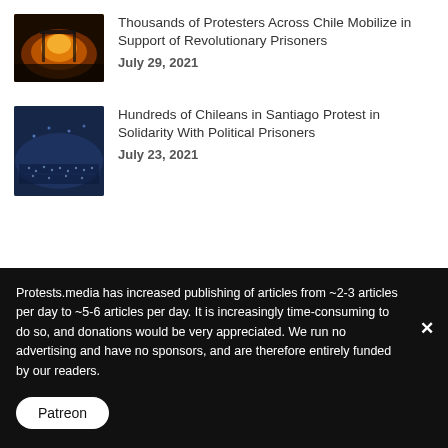[Figure (photo): Thumbnail photo of fire/protest scene at night with burning structure]
Thousands of Protesters Across Chile Mobilize in Support of Revolutionary Prisoners
July 29, 2021
[Figure (photo): Thumbnail photo of large crowd gathered in Santiago, blue-toned night scene]
Hundreds of Chileans in Santiago Protest in Solidarity With Political Prisoners
July 23, 2021
Protests.media has increased publishing of articles from ~2-3 articles per day to ~5-6 articles per day. It is increasingly time-consuming to do so, and donations would be very appreciated. We run no advertising and have no sponsors, and are therefore entirely funded by our readers.
Patreon